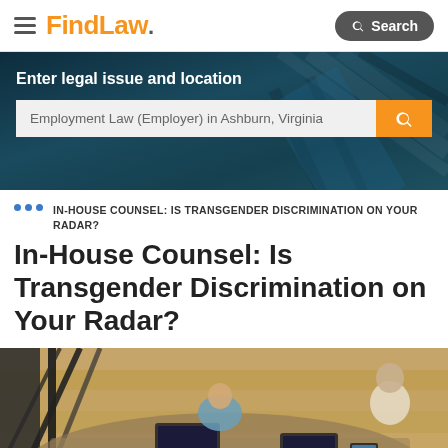FindLaw. | Search
[Figure (screenshot): Hero banner with dark blue/teal background showing a search bar for legal issues and location. Text reads: Enter legal issue and location. Search box placeholder: Employment Law (Employer) in Ashburn, Virginia]
IN-HOUSE COUNSEL: IS TRANSGENDER DISCRIMINATION ON YOUR RADAR?
In-House Counsel: Is Transgender Discrimination on Your Radar?
[Figure (photo): Overhead aerial view of people sitting around a conference table with laptops, papers, and office supplies, working together in a modern office setting with large windows.]